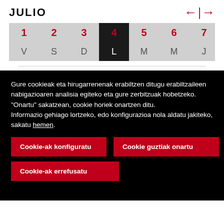JULIO
| 1 | 2 | 3 | 4 | 5 | 6 | 7 | 8 | 9 | 10 | 11 | 12 | 13 | 14 | 1... |
| --- | --- | --- | --- | --- | --- | --- | --- | --- | --- | --- | --- | --- | --- | --- |
| V | S | D | L | M | M | J | V | S | D | L | M | M | J | V... |
Gure cookieak eta hirugarrenenak erabiltzen ditugu erabiltzaileen nabigazioaren analisia egiteko eta gure zerbitzuak hobetzeko.
"Onartu" sakatzean, cookie horiek onartzen ditu.
Informazio gehiago lortzeko, edo konfigurazioa nola aldatu jakiteko, sakatu hemen.
Cookie-ak konfiguratu
Cookie guztiak onartu
Cookie-ak errefusatu